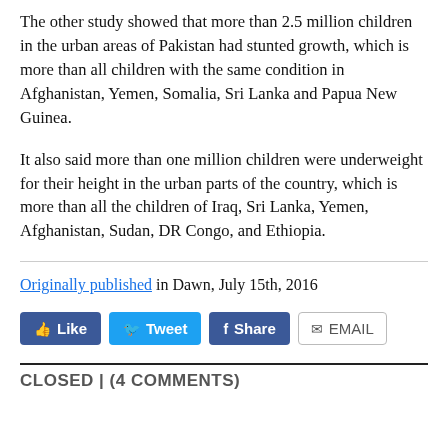The other study showed that more than 2.5 million children in the urban areas of Pakistan had stunted growth, which is more than all children with the same condition in Afghanistan, Yemen, Somalia, Sri Lanka and Papua New Guinea.
It also said more than one million children were underweight for their height in the urban parts of the country, which is more than all the children of Iraq, Sri Lanka, Yemen, Afghanistan, Sudan, DR Congo, and Ethiopia.
Originally published in Dawn, July 15th, 2016
CLOSED | (4 COMMENTS)